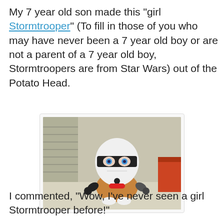My 7 year old son made this "girl Stormtrooper" (To fill in those of you who may have never been a 7 year old boy or are not a parent of a 7 year old boy, Stormtroopers are from Star Wars) out of the Potato Head.
[Figure (photo): Photo of a Mr. Potato Head toy assembled with a Stormtrooper helmet from Star Wars, sitting on a table. The toy has the white Stormtrooper helmet with black visor, blue eyes visible through the visor, a red nose/lips, black hands, and white feet.]
I commented, "Wow, I've never seen a girl Stormtrooper before!"